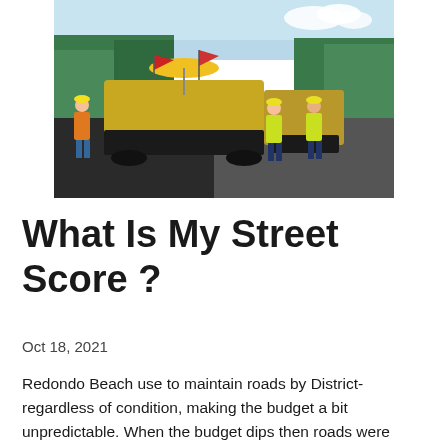[Figure (photo): Road paving crew with heavy asphalt paving machine on a road surrounded by trees. Workers in high-visibility vests and hard hats are visible. Yellow flags and umbrella shade visible on the machine.]
What Is My Street Score ?
Oct 18, 2021
Redondo Beach use to maintain roads by District- regardless of condition, making the budget a bit unpredictable. When the budget dips then roads were sacrificed then every district suffered through delay. When I came into